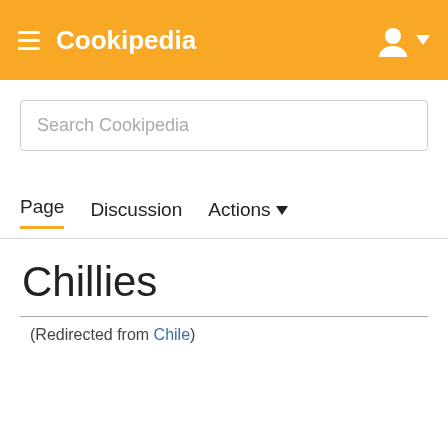Cookipedia
Search Cookipedia
Page  Discussion  Actions
Chillies
(Redirected from Chile)